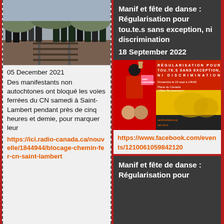[Figure (photo): Photo of protesters and police on railway tracks]
05 December 2021
Des manifestants non autochtones ont bloqué les voies ferrées du CN samedi à Saint-Lambert pendant près de cinq heures et demie, pour marquer leur
https://ici.radio-canada.ca/nouvelle/1844944/blocage-chemin-fer-cn-saint-lambert
Manif et fête de danse : Régularisation pour tou.te.s sans exception, ni discrimination
18 September 2022
[Figure (photo): Event poster: Régularisation pour tou.te.s sans exception, ni discrimination. Dimanche le 19 sept à 14h00 - Place du Canada (Métro Bonaventure)]
https://www.facebook.com/events/1210061059842120
Manif et fête de danse : Régularisation pour